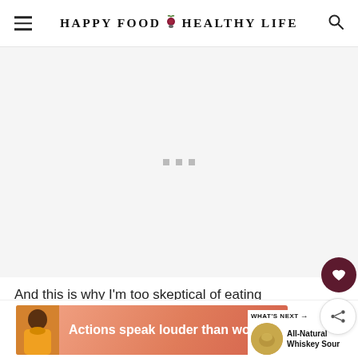HAPPY FOOD 🌿 HEALTHY LIFE
[Figure (other): Gray placeholder content area with three small loading dots]
And this is why I'm too skeptical of eating anything outside of my house and do to make everything from scratch.
[Figure (other): WHAT'S NEXT → All-Natural Whiskey Sour thumbnail with circular drink photo]
[Figure (other): Advertisement banner: Actions speak louder than words. with person in yellow shirt and pink/coral background]